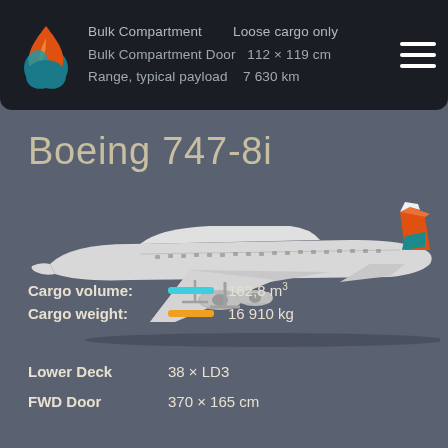Bulk Compartment | Loose cargo only
Bulk Compartment Door | 112 x 119 cm
Range, typical payload | 7 630 km
Boeing 747-8i
[Figure (illustration): Side-view illustration of a Boeing 747-8i aircraft with white fuselage and orange/teal tail livery]
Cargo volume: 162,8 m³
Cargo weight: 16 910 kg
Lower Deck 38 × LD3
FWD Door 370 × 165 cm